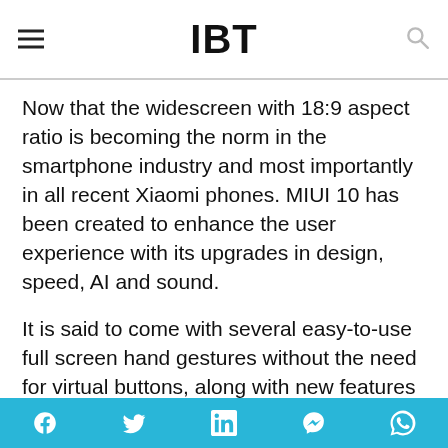IBT
Now that the widescreen with 18:9 aspect ratio is becoming the norm in the smartphone industry and most importantly in all recent Xiaomi phones. MIUI 10 has been created to enhance the user experience with its upgrades in design, speed, AI and sound.
It is said to come with several easy-to-use full screen hand gestures without the need for virtual buttons, along with new features such as more content in the tiled taskbar and improved swiping gestures (up and down for switching tasks, sideways to end current task),
Social sharing bar: Facebook, Twitter, LinkedIn, Messenger, WhatsApp